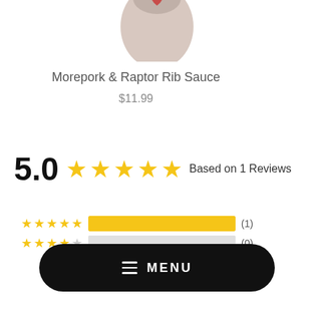[Figure (photo): Partial top view of a product bottle with a red heart/logo on cap, cropped at the top of the page]
Morepork & Raptor Rib Sauce
$11.99
5.0 ★★★★★ Based on 1 Reviews
[Figure (infographic): Star rating histogram: 5 stars row with full yellow bar showing (1) review, 4 stars row with empty/gray bar showing (0) reviews]
MENU